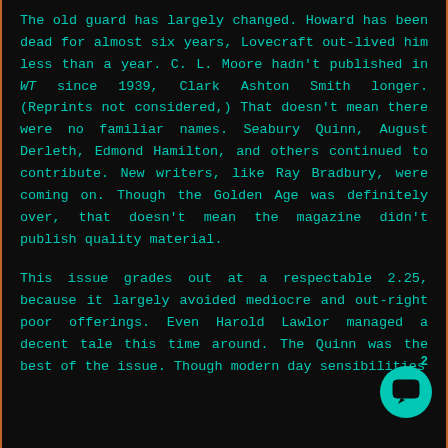The old guard has largely changed. Howard has been dead for almost six years, Lovecraft out-lived him less than a year. C. L. Moore hadn't published in WT since 1939, Clark Ashton Smith longer. (Reprints not considered,) That doesn't mean there were no familiar names. Seabury Quinn, August Derleth, Edmond Hamilton, and others continued to contribute. New writers, like Ray Bradbury, were coming on. Though the Golden Age was definitely over, that doesn't mean the magazine didn't publish quality material.

This issue grades out at a respectable 2.25, because it largely avoided mediocre and out-right poor offerings. Even Harold Lawlor managed a decent tale this time around. The Quinn was the best of the issue. Though modern day sensibilities